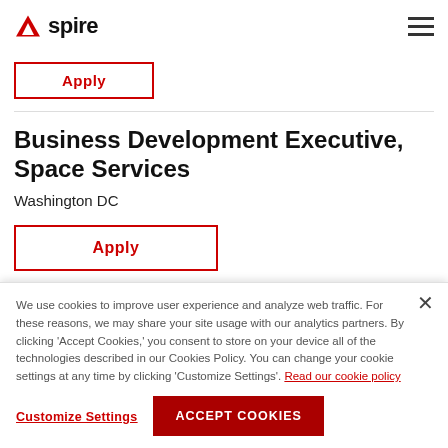Spire
Business Development Executive, Space Services
Washington DC
Apply
We use cookies to improve user experience and analyze web traffic. For these reasons, we may share your site usage with our analytics partners. By clicking 'Accept Cookies,' you consent to store on your device all of the technologies described in our Cookies Policy. You can change your cookie settings at any time by clicking 'Customize Settings'. Read our cookie policy
Customize Settings
ACCEPT COOKIES